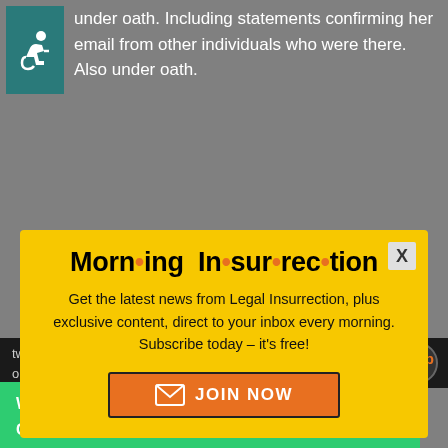[Figure (illustration): Wheelchair accessibility icon — white figure in wheelchair on teal/dark cyan background]
under oath. Including statements confirming her email from other individuals who were there. Also under oath.
[Figure (infographic): Modal popup advertisement for Morning Insurrection newsletter from Legal Insurrection with yellow background, JOIN NOW button, and X close button]
twisted into julicing to their operatives in the press, in order to try
[Figure (advertisement): Fiverr green banner ad: Working from home? Get your projects done on fiverr]
Which, BTW, is one of the big reasons